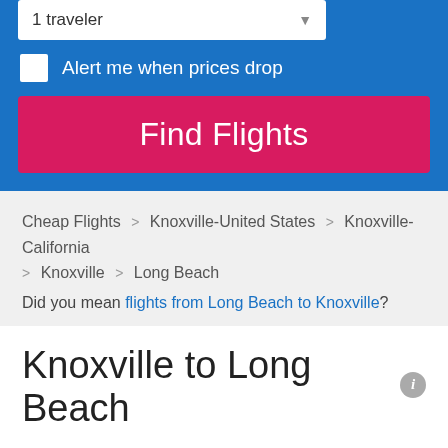1 traveler
Alert me when prices drop
Find Flights
Cheap Flights > Knoxville-United States > Knoxville-California > Knoxville > Long Beach
Did you mean flights from Long Beach to Knoxville?
Knoxville to Long Beach
Oops... We've scanned 31,729 round trip itineraries and didn't find any recent prices to Long Beach that we